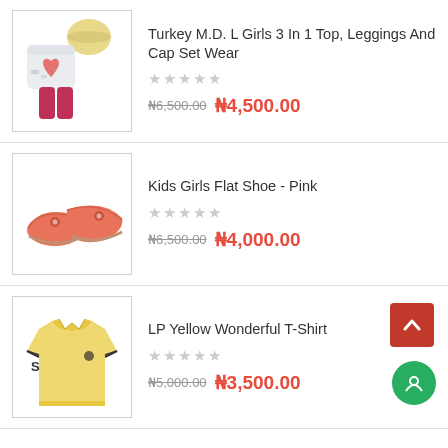Turkey M.D. L Girls 3 In 1 Top, Leggings And Cap Set Wear
₦6,500.00 ₦4,500.00
Kids Girls Flat Shoe - Pink
₦6,500.00 ₦4,000.00
LP Yellow Wonderful T-Shirt
₦5,000.00 ₦3,500.00